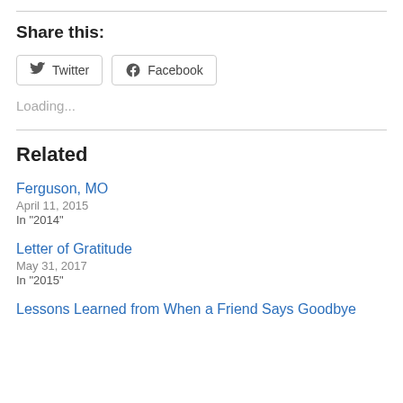Share this:
[Figure (other): Twitter and Facebook share buttons]
Loading...
Related
Ferguson, MO
April 11, 2015
In "2014"
Letter of Gratitude
May 31, 2017
In "2015"
Lessons Learned from When a Friend Says Goodbye